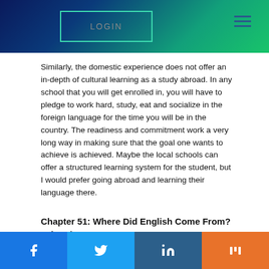LOGIN
Similarly, the domestic experience does not offer an in-depth of cultural learning as a study abroad. In any school that you will get enrolled in, you will have to pledge to work hard, study, eat and socialize in the foreign language for the time you will be in the country. The readiness and commitment work a very long way in making sure that the goal one wants to achieve is achieved. Maybe the local schools can offer a structured learning system for the student, but I would prefer going abroad and learning their language there.
Chapter 51: Where Did English Come From?
John Algeo.
Keyword.